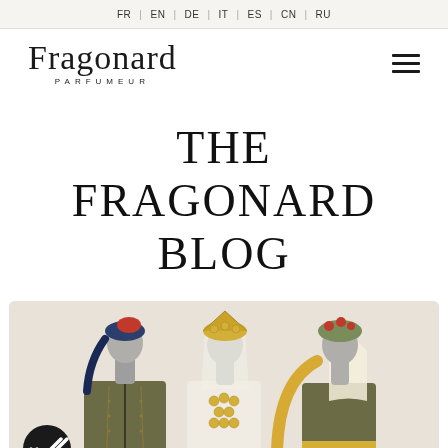FR | EN | DE | IT | ES | CN | RU
[Figure (logo): Fragonard Parfumeur logo with serif wordmark and spaced-letter subtitle]
THE FRAGONARD BLOG
[Figure (photo): Three mannequins wearing traditional folk costumes with elaborate embroidery and headdresses; leftmost in olive and red jacket with blue/red headscarf, center in gold coin-adorned white dress with veil, rightmost in embroidered garment with yellow and white headdress. A dark circular badge with double-check icon is in the bottom-left corner.]